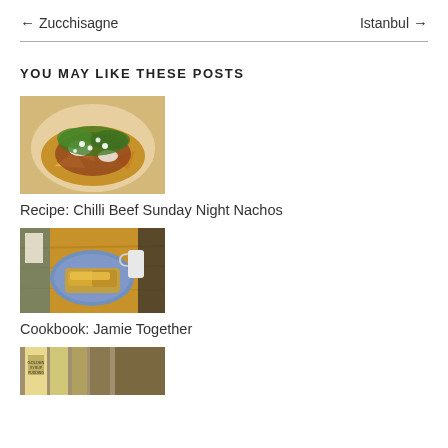← Zucchisagne    Istanbul →
YOU MAY LIKE THESE POSTS
[Figure (photo): Plate of Chilli Beef Sunday Night Nachos with green herbs and toppings]
Recipe: Chilli Beef Sunday Night Nachos
[Figure (photo): Plate of food on wooden table - Jamie Together cookbook photo]
Cookbook: Jamie Together
[Figure (photo): Partial view of a cookbook or food book]